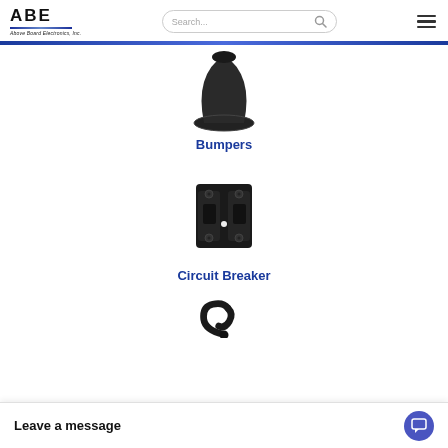[Figure (logo): ABE Above Board Electronics logo with blue gradient stripe]
[Figure (screenshot): Search bar with magnifying glass icon]
[Figure (illustration): Hamburger menu icon (three horizontal lines)]
[Figure (photo): Black rubber bumper / cone-shaped component]
Bumpers
[Figure (photo): Black dual-pole circuit breaker component]
Circuit Breaker
[Figure (photo): Partially visible black cable/cord product]
Leave a message